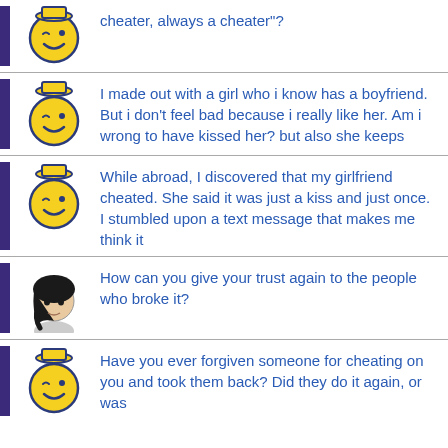cheater, always a cheater"?
I made out with a girl who i know has a boyfriend. But i don't feel bad because i really like her. Am i wrong to have kissed her? but also she keeps
While abroad, I discovered that my girlfriend cheated. She said it was just a kiss and just once. I stumbled upon a text message that makes me think it
How can you give your trust again to the people who broke it?
Have you ever forgiven someone for cheating on you and took them back? Did they do it again, or was